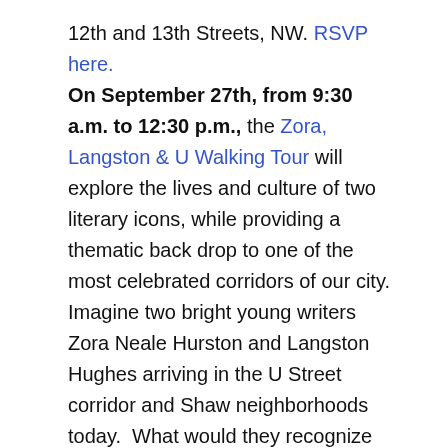12th and 13th Streets, NW. RSVP here. On September 27th, from 9:30 a.m. to 12:30 p.m., the Zora, Langston & U Walking Tour will explore the lives and culture of two literary icons, while providing a thematic back drop to one of the most celebrated corridors of our city. Imagine two bright young writers Zora Neale Hurston and Langston Hughes arriving in the U Street corridor and Shaw neighborhoods today.  What would they recognize of the DC they knew then — nearly 100 years ago?  What changes would they embrace now? Proceeds from this event will benefit the Humanities Council and our mission to transform lives through the power of the humanities.